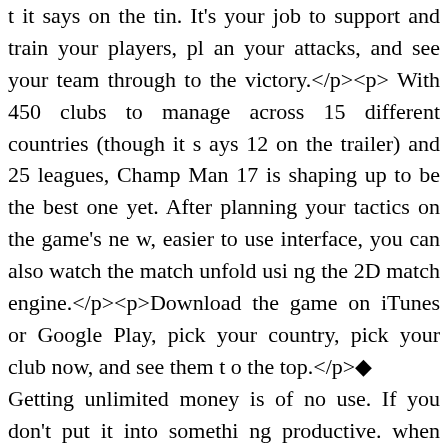t it says on the tin. It's your job to support and train your players, plan your attacks, and see your team through to the victory.</p><p>With 450 clubs to manage across 15 different countries (though it says 12 on the trailer) and 25 leagues, Champ Man 17 is shaping up to be the best one yet. After planning your tactics on the game's new, easier to use interface, you can also watch the match unfold using the 2D match engine.</p><p>Download the game on iTunes or Google Play, pick your country, pick your club now, and see them to the top.</p>◆Getting unlimited money is of no use. If you don't put it into something productive. when others are happy because of you, that's a world-class achievement. So, to put a smile on the face of everyone, show your hard work and genius. Build the most attractive and comfortable infrastructure with radiant lights to make the night seems like day and extremely luring tourist spots, work to make your city clean and greenery on all sides. Ensure efficacy in the functioning and discipline of the public departments.◆"Don't let Small Anne Cordelia